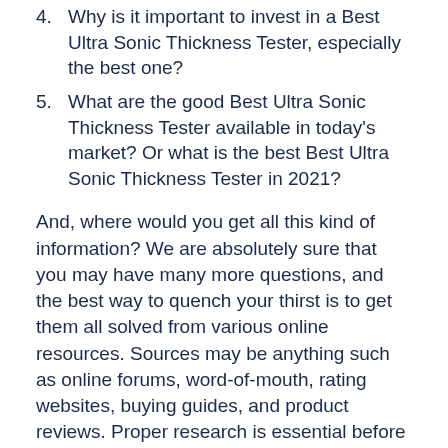4. Why is it important to invest in a Best Ultra Sonic Thickness Tester, especially the best one?
5. What are the good Best Ultra Sonic Thickness Tester available in today's market? Or what is the best Best Ultra Sonic Thickness Tester in 2021?
And, where would you get all this kind of information? We are absolutely sure that you may have many more questions, and the best way to quench your thirst is to get them all solved from various online resources. Sources may be anything such as online forums, word-of-mouth, rating websites, buying guides, and product reviews. Proper research is essential before buying the best Best Ultra Sonic Thickness Tester for yourself. Ensure that you are reading from highly reliable